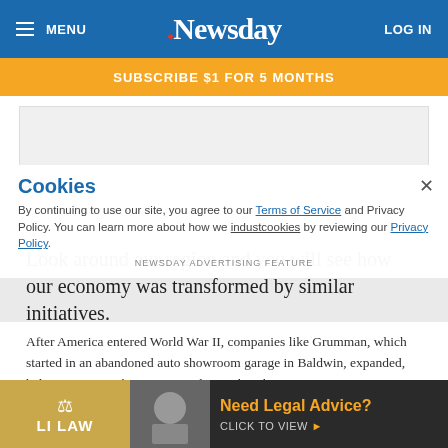MENU | Newsday | LOG IN
SUBSCRIBE $1 FOR 5 MONTHS
[Figure (other): Advertisement placeholder box (gray rectangle)]
Look around our region and you will see how our economy was transformed by similar initiatives.
After America entered World War II, companies like Grumman, which started in an abandoned auto showroom garage in Baldwin, expanded, helping ramp up the wartime industcookies by reviewing our Pri... a defens...
Cookies
By continuing to use our site, you agree to our Terms of Service and Privacy Policy. You can learn more about how we industcookies by reviewing our Privacy Policy.
[Figure (other): LI LAW advertisement banner: 'Need Legal Advice? CLICK TO VIEW']